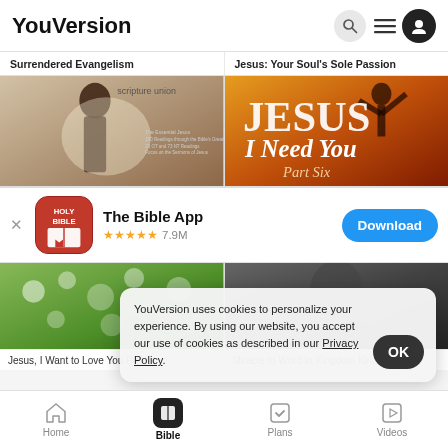YouVersion
Surrendered Evangelism
Jesus: Your Soul's Sole Passion
[Figure (photo): Scripture Union devotional book cover with silhouette of person with crown of thorns]
[Figure (photo): Jesus I Need You Part Six - person with arms raised against golden sunset]
[Figure (screenshot): The Bible App download banner with app icon, 4.5 stars, 7.9M ratings, and Download button]
[Figure (photo): Green floral garden image]
[Figure (photo): Dark portrait image]
YouVersion uses cookies to personalize your experience. By using our website, you accept our use of cookies as described in our Privacy Policy.
Jesus, I Want to Love You Part...
Miracle to Word in Kingdom Kin...
Home  Bible  Plans  Videos